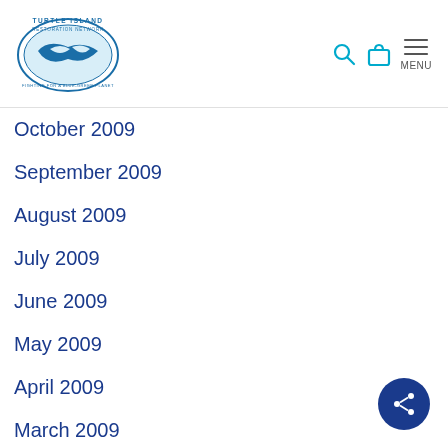Turtle Island Restoration Network - MENU
October 2009
September 2009
August 2009
July 2009
June 2009
May 2009
April 2009
March 2009
February 2009
January 2009
December 2008
November 2008